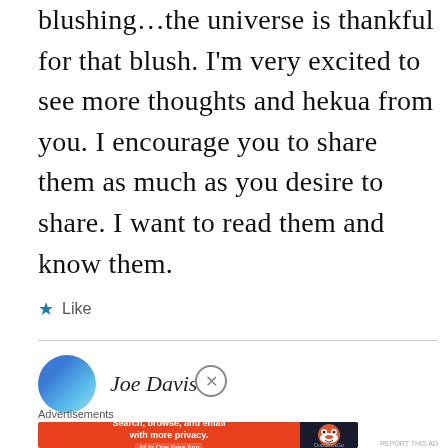blushing...the universe is thankful for that blush. I'm very excited to see more thoughts and hekua from you. I encourage you to share them as much as you desire to share. I want to read them and know them.
★ Like
[Figure (illustration): Avatar circle with blue gradient and partial text 'Joe Davis' visible, with a close button (X in circle)]
Advertisements
[Figure (screenshot): DuckDuckGo advertisement banner: orange left side with text 'Search, browse, and email with more privacy. All in One Free App', dark right side with DuckDuckGo duck logo]